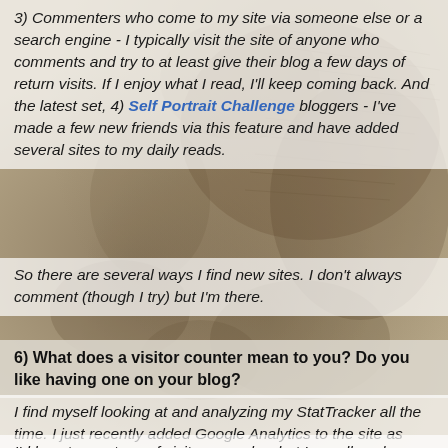3) Commenters who come to my site via someone else or a search engine - I typically visit the site of anyone who comments and try to at least give their blog a few days of return visits. If I enjoy what I read, I'll keep coming back. And the latest set, 4) Self Portrait Challenge bloggers - I've made a few new friends via this feature and have added several sites to my daily reads.
So there are several ways I find new sites. I don't always comment (though I try) but I'm there.
6) What does a visitor counter mean to you? Do you like having one on your blog?
I find myself looking at and analyzing my StatTracker all the time. I just recently added Google Analytics to the site as well, and the numbers are a bit different.
I'd love to see tons of visits every day, but I usually only average about 80 or so. I don't think my content is edgy, controversial, or eloquent enough to garner a lot of interest